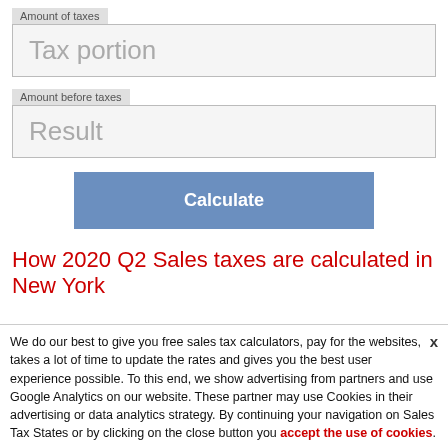Amount of taxes
Tax portion
Amount before taxes
Result
Calculate
How 2020 Q2 Sales taxes are calculated in New York
We do our best to give you free sales tax calculators, pay for the websites, takes a lot of time to update the rates and gives you the best user experience possible. To this end, we show advertising from partners and use Google Analytics on our website. These partner may use Cookies in their advertising or data analytics strategy. By continuing your navigation on Sales Tax States or by clicking on the close button you accept the use of cookies.